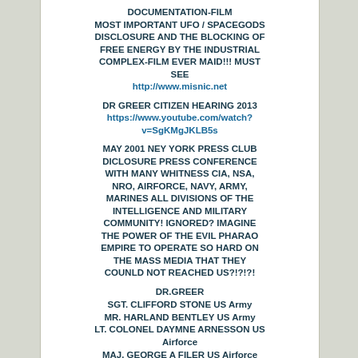DOCUMENTATION-FILM
MOST IMPORTANT UFO / SPACEGODS DISCLOSURE AND THE BLOCKING OF FREE ENERGY BY THE INDUSTRIAL COMPLEX-FILM EVER MAID!!! MUST SEE
http://www.misnic.net
DR GREER CITIZEN HEARING 2013
https://www.youtube.com/watch?v=SgKMgJKLB5s
MAY 2001 NEY YORK PRESS CLUB DICLOSURE PRESS CONFERENCE WITH MANY WHITNESS CIA, NSA, NRO, AIRFORCE, NAVY, ARMY, MARINES ALL DIVISIONS OF THE INTELLIGENCE AND MILITARY COMMUNITY! IGNORED? IMAGINE THE POWER OF THE EVIL PHARAO EMPIRE TO OPERATE SO HARD ON THE MASS MEDIA THAT THEY COUNLD NOT REACHED US?!?!?!
DR.GREER
SGT. CLIFFORD STONE US Army
MR. HARLAND BENTLEY US Army
LT. COLONEL DAYMNE ARNESSON US Airforce
MAJ. GEORGE A FILER US Airforce
SGT. KARL WORL US Airforce